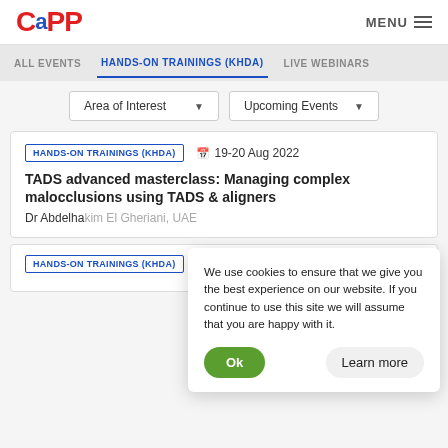CAPP | MENU
ALL EVENTS | HANDS-ON TRAININGS (KHDA) | LIVE WEBINARS
Area of Interest ▾   Upcoming Events ▾
HANDS-ON TRAININGS (KHDA)  📅 19-20 Aug 2022
TADS advanced masterclass: Managing complex malocclusions using TADS & aligners
Dr Abdelhakim El Gheriani, UAE
We use cookies to ensure that we give you the best experience on our website. If you continue to use this site we will assume that you are happy with it.
Ok   Learn more
HANDS-ON TRAININGS (KHDA)  📅 18 Jun 2022